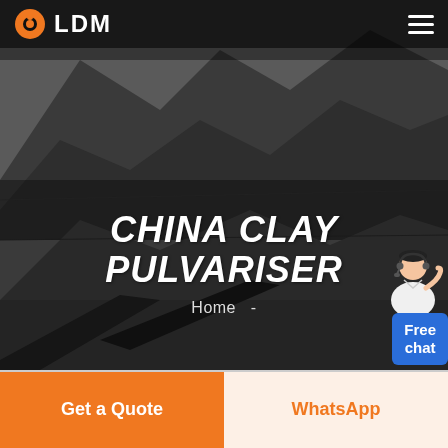LDM
[Figure (photo): Dark background quarry/mining site with large mounds of coal or rock material and industrial equipment silhouettes]
CHINA CLAY PULVARISER
Home  -
[Figure (illustration): Customer service agent with Free chat bubble widget in blue]
Get a Quote
WhatsApp